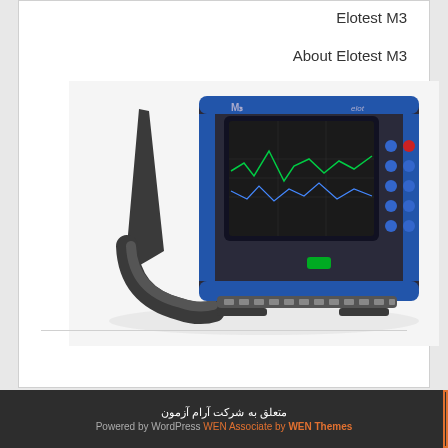Elotest M3
About Elotest M3
[Figure (photo): Photo of the Elotest M3 handheld eddy current testing device, shown at an angle. The device has a dark grey and blue body, a handle on the left, a rectangular LCD display screen in the center showing waveform traces, blue function buttons on the right side, and a green LED indicator. The unit is resting on a flat surface.]
متعلق به شرکت آرام آزمون
Powered by WordPress WEN Associate by WEN Themes